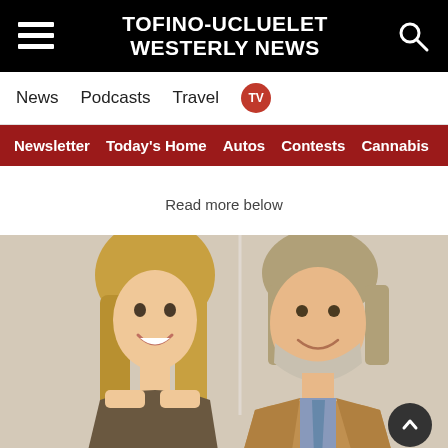TOFINO-UCLUELET WESTERLY NEWS
News  Podcasts  Travel  TV
Newsletter  Today's Home  Autos  Contests  Cannabis
Read more below
[Figure (photo): Two people smiling — a young blonde woman on the left and an older bearded man in a suit and tie on the right, photographed indoors.]